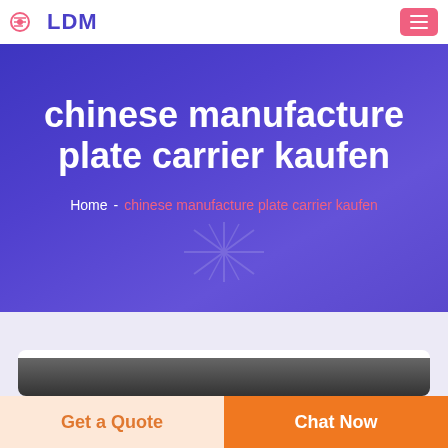LDM
chinese manufacture plate carrier kaufen
Home - chinese manufacture plate carrier kaufen
[Figure (logo): DEEKON brand logo with circular emblem and red text]
Get a Quote
Chat Now